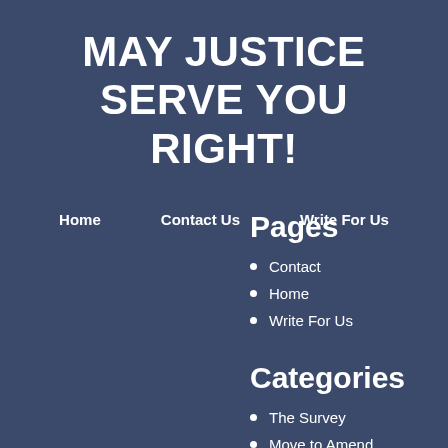MAY JUSTICE SERVE YOU RIGHT!
Home   Contact Us   Write For Us
Pages
Contact
Home
Write For Us
Categories
The Survey
Move to Amend